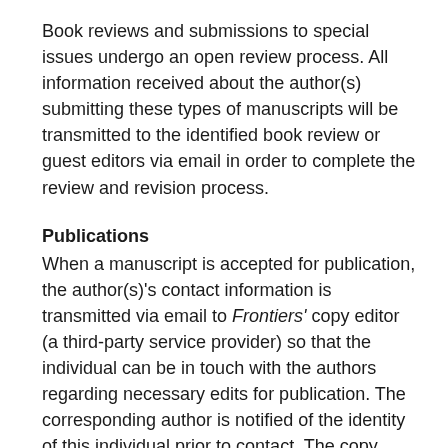Book reviews and submissions to special issues undergo an open review process. All information received about the author(s) submitting these types of manuscripts will be transmitted to the identified book review or guest editors via email in order to complete the review and revision process.
Publications
When a manuscript is accepted for publication, the author(s)'s contact information is transmitted via email to Frontiers' copy editor (a third-party service provider) so that the individual can be in touch with the authors regarding necessary edits for publication. The corresponding author is notified of the identity of this individual prior to contact. The copy editor is requested not to use the contact information provided for any other purposes, and to delete all records after the assigned work is completed.